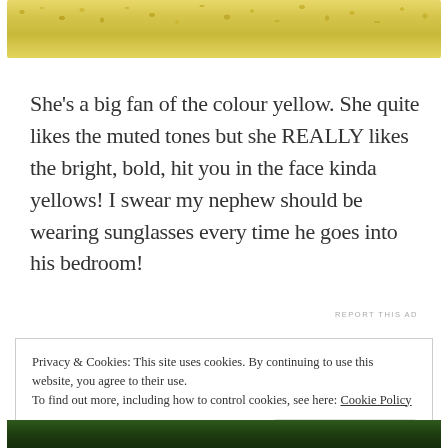[Figure (photo): Close-up photo of yellow knitted or textured fabric with a bumpy, porous surface in muted yellow tones]
She's a big fan of the colour yellow. She quite likes the muted tones but she REALLY likes the bright, bold, hit you in the face kinda yellows! I swear my nephew should be wearing sunglasses every time he goes into his bedroom!
REPORT THIS AD
Privacy & Cookies: This site uses cookies. By continuing to use this website, you agree to their use.
To find out more, including how to control cookies, see here: Cookie Policy
Close and accept
[Figure (photo): Bottom edge of a photo showing dark green knitted fabric]